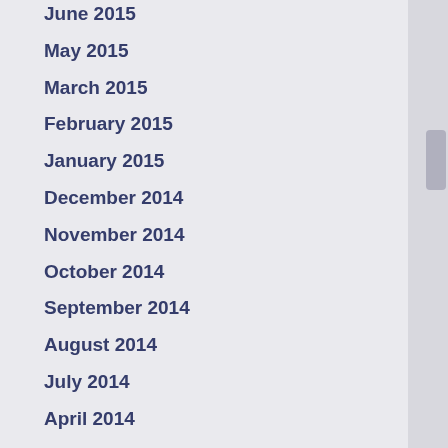June 2015
May 2015
March 2015
February 2015
January 2015
December 2014
November 2014
October 2014
September 2014
August 2014
July 2014
April 2014
March 2014
September 2013
June 2013
May 2013
April 2013
January 2013